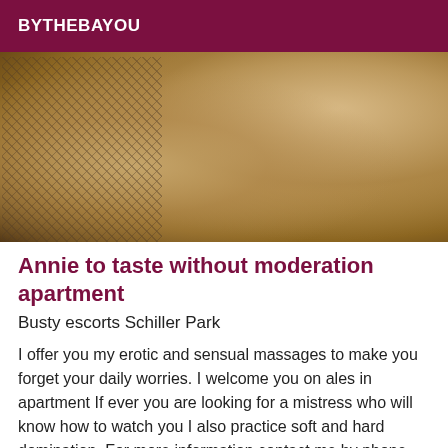BYTHEBAYOU
[Figure (photo): A suggestive photograph of a person lying down, wearing fishnet clothing, with warm golden-brown tones throughout.]
Annie to taste without moderation apartment
Busty escorts Schiller Park
I offer you my erotic and sensual massages to make you forget your daily worries. I welcome you on ales in apartment If ever you are looking for a mistress who will know how to watch you I also practice soft and hard domination. For more information contact me by phone (no landline, no sms and no hidden number). Carpet dealers and funny people will pass your way.